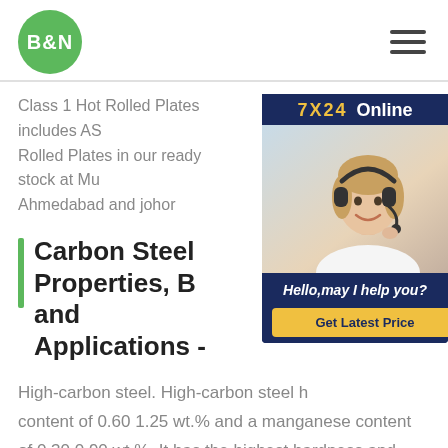B&N [logo] [hamburger menu]
Class 1 Hot Rolled Plates includes AS... Rolled Plates in our ready stock at Mu... Ahmedabad and johor
[Figure (photo): Customer service representative with headset. 7X24 Online banner at top, Hello,may I help you? text and Get Latest Price button at bottom.]
Carbon Steel Properties, B... and Applications -
High-carbon steel. High-carbon steel h... content of 0.60 1.25 wt.% and a manganese content of 0.30 0.90 wt.%. It has the highest hardness and toughness of the carbon steels and the lowest ductility. High-carbon steels are very wear-resistant as a result of the fact that they are almost always